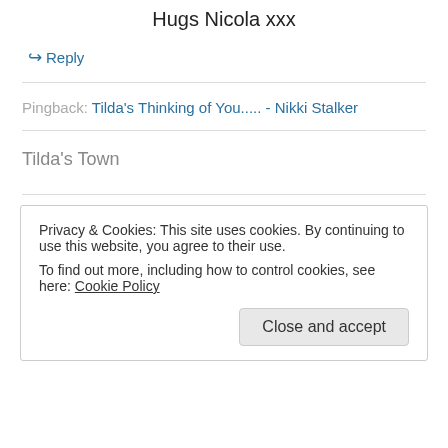Hugs Nicola xxx
↪ Reply
Pingback: Tilda's Thinking of You..... - Nikki Stalker
Tilda's Town
Privacy & Cookies: This site uses cookies. By continuing to use this website, you agree to their use.
To find out more, including how to control cookies, see here: Cookie Policy